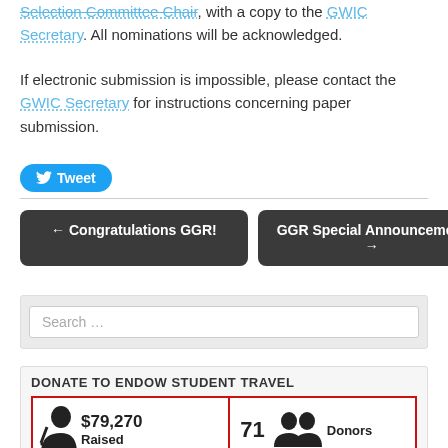Selection Committee Chair, with a copy to the GWIC Secretary. All nominations will be acknowledged.
If electronic submission is impossible, please contact the GWIC Secretary for instructions concerning paper submission.
[Figure (other): Twitter Tweet button (blue rounded button with bird icon and 'Tweet' text)]
← Congratulations GGR!
GGR Special Announcement →
Search …
DONATE TO ENDOW STUDENT TRAVEL
[Figure (infographic): Donation widget showing $79,270 Raised and 71 Donors with icons]